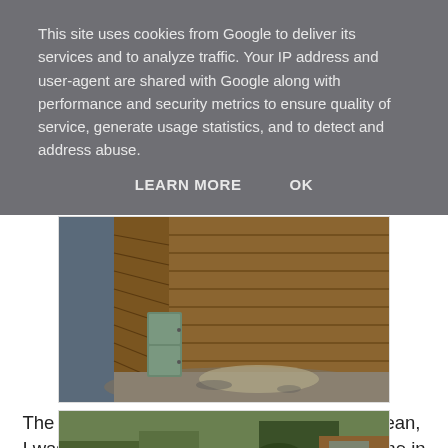This site uses cookies from Google to deliver its services and to analyze traffic. Your IP address and user-agent are shared with Google along with performance and security metrics to ensure quality of service, generate usage statistics, and to detect and address abuse.
LEARN MORE    OK
[Figure (photo): Interior of an empty wooden garden shed with horizontal plank walls, concrete floor, and a small green/grey cabinet visible on the left side. Sunlight comes through the open door.]
The garden shed got an unplanned spring clean,  I was looking for an attachment that eluded me in the shed and in desperation the whole shed got emptied
[Figure (photo): Exterior garden scene with shed contents emptied outside, showing plants and garden equipment spread on the ground.]